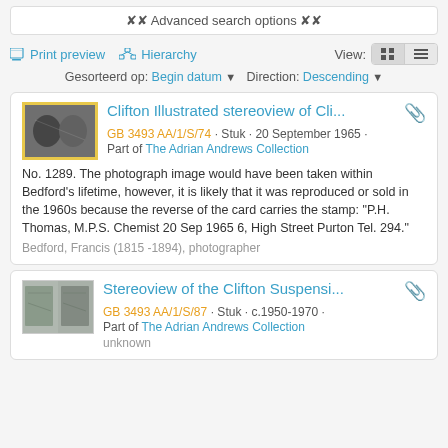Advanced search options
Print preview   Hierarchy   View:
Gesorteerd op: Begin datum ▼   Direction: Descending ▼
Clifton Illustrated stereoview of Cli...
GB 3493 AA/1/S/74 · Stuk · 20 September 1965 · Part of The Adrian Andrews Collection
No. 1289. The photograph image would have been taken within Bedford's lifetime, however, it is likely that it was reproduced or sold in the 1960s because the reverse of the card carries the stamp: "P.H. Thomas, M.P.S. Chemist 20 Sep 1965 6, High Street Purton Tel. 294."
Bedford, Francis (1815 -1894), photographer
Stereoview of the Clifton Suspensi...
GB 3493 AA/1/S/87 · Stuk · c.1950-1970 · Part of The Adrian Andrews Collection
unknown